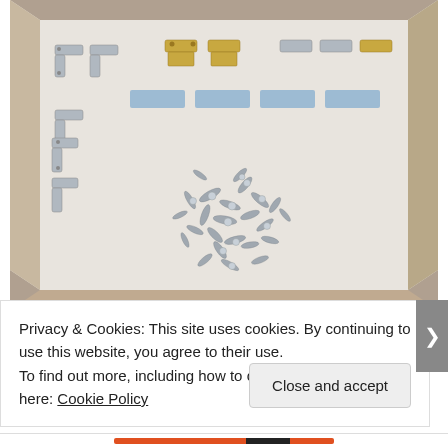[Figure (photo): An open shallow cardboard/white box viewed from above, containing various metal hinges and brackets arranged around the edges, with a large pile of small screws and fasteners scattered in the center.]
I put all the screws and brackets in a shallow box and spray painted them from all angles with Rustoleum Oil Rubbed Bronze spray paint. It took multiple coats to get all of the angles done so that no shiny silver metal was
Privacy & Cookies: This site uses cookies. By continuing to use this website, you agree to their use.
To find out more, including how to control cookies, see here: Cookie Policy
Close and accept